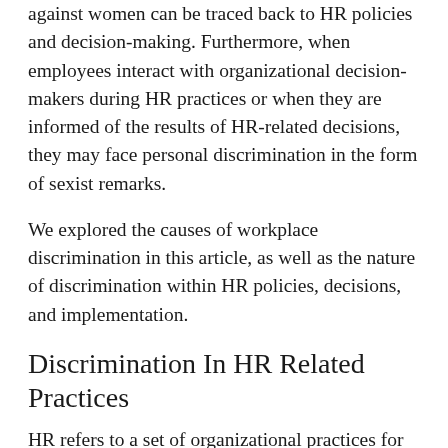against women can be traced back to HR policies and decision-making. Furthermore, when employees interact with organizational decision-makers during HR practices or when they are informed of the results of HR-related decisions, they may face personal discrimination in the form of sexist remarks.
We explored the causes of workplace discrimination in this article, as well as the nature of discrimination within HR policies, decisions, and implementation.
Discrimination In HR Related Practices
HR refers to a set of organizational practices for managing employees and ensuring that they meet organizational goals. Selection, performance evaluation, succession planning, and training are all